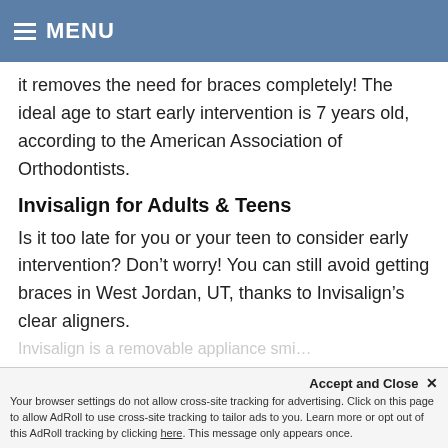MENU
it removes the need for braces completely! The ideal age to start early intervention is 7 years old, according to the American Association of Orthodontists.
Invisalign for Adults & Teens
Is it too late for you or your teen to consider early intervention? Don’t worry! You can still avoid getting braces in West Jordan, UT, thanks to Invisalign’s clear aligners.
Invisalign is a removable appliance smi…
Accept and Close × Your browser settings do not allow cross-site tracking for advertising. Click on this page to allow AdRoll to use cross-site tracking to tailor ads to you. Learn more or opt out of this AdRoll tracking by clicking here. This message only appears once.